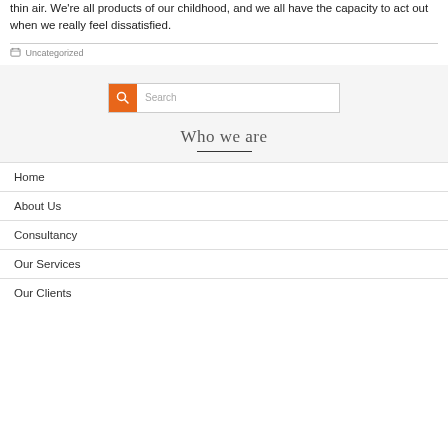thin air. We're all products of our childhood, and we all have the capacity to act out when we really feel dissatisfied.
Uncategorized
[Figure (screenshot): Search bar with orange search button icon on the left and 'Search' placeholder text on the right]
Who we are
Home
About Us
Consultancy
Our Services
Our Clients